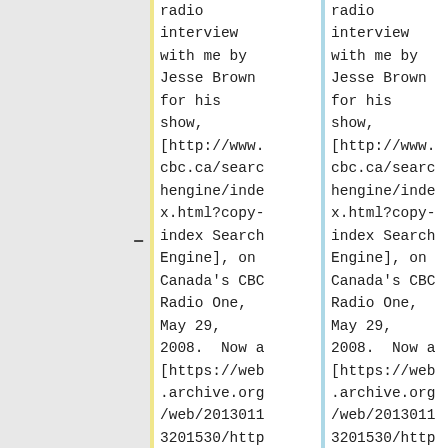radio interview with me by Jesse Brown for his show, [http://www.cbc.ca/searchengine/index.html?copy-index Search Engine], on Canada's CBC Radio One, May 29, 2008. Now a [https://web.archive.org/web/20130113201530/http://podcast.cbc.ca/mp3/se
radio interview with me by Jesse Brown for his show, [http://www.cbc.ca/searchengine/index.html?copy-index Search Engine], on Canada's CBC Radio One, May 29, 2008. Now a [https://web.archive.org/web/20130113201530/http://podcast.cbc.ca/mp3/se